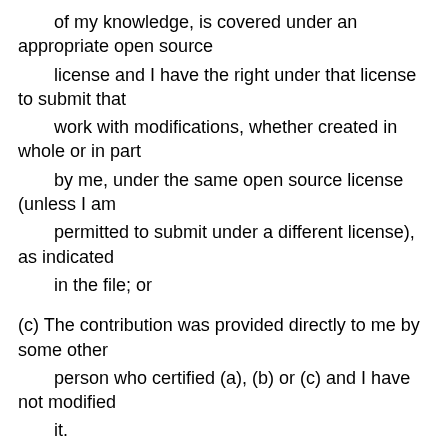of my knowledge, is covered under an appropriate open source license and I have the right under that license to submit that work with modifications, whether created in whole or in part by me, under the same open source license (unless I am permitted to submit under a different license), as indicated in the file; or
(c) The contribution was provided directly to me by some other person who certified (a), (b) or (c) and I have not modified it.
(d) I understand and agree that this project and the